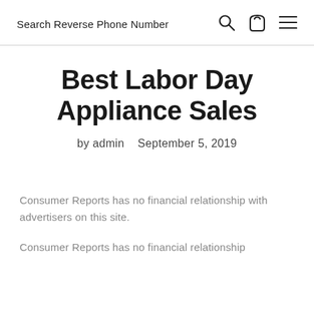Search Reverse Phone Number
Best Labor Day Appliance Sales
by admin   September 5, 2019
Consumer Reports has no financial relationship with advertisers on this site.
Consumer Reports has no financial relationship